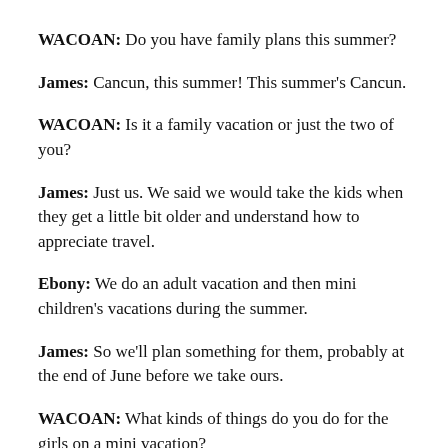WACOAN: Do you have family plans this summer?
James: Cancun, this summer! This summer's Cancun.
WACOAN: Is it a family vacation or just the two of you?
James: Just us. We said we would take the kids when they get a little bit older and understand how to appreciate travel.
Ebony: We do an adult vacation and then mini children's vacations during the summer.
James: So we'll plan something for them, probably at the end of June before we take ours.
WACOAN: What kinds of things do you do for the girls on a mini vacation?